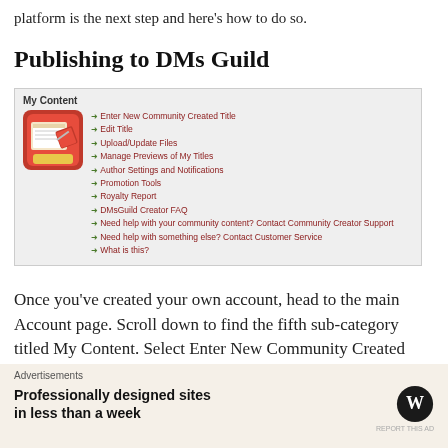platform is the next step and here's how to do so.
Publishing to DMs Guild
[Figure (screenshot): Screenshot of DMs Guild 'My Content' menu showing options: Enter New Community Created Title, Edit Title, Upload/Update Files, Manage Previews of My Titles, Author Settings and Notifications, Promotion Tools, Royalty Report, DMsGuild Creator FAQ, Need help with your community content? Contact Community Creator Support, Need help with something else? Contact Customer Service, What is this?]
Once you've created your own account, head to the main Account page. Scroll down to find the fifth sub-category titled My Content. Select Enter New Community Created Title to get started publishing.
[Figure (screenshot): Partial screenshot of a webpage with red and blue banner]
Advertisements
Professionally designed sites in less than a week